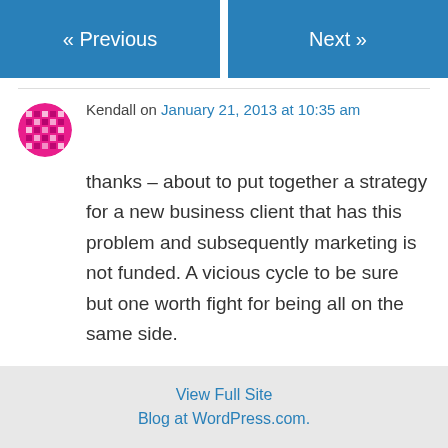« Previous   Next »
Kendall on January 21, 2013 at 10:35 am
thanks – about to put together a strategy for a new business client that has this problem and subsequently marketing is not funded. A vicious cycle to be sure but one worth fight for being all on the same side.
View Full Site
Blog at WordPress.com.